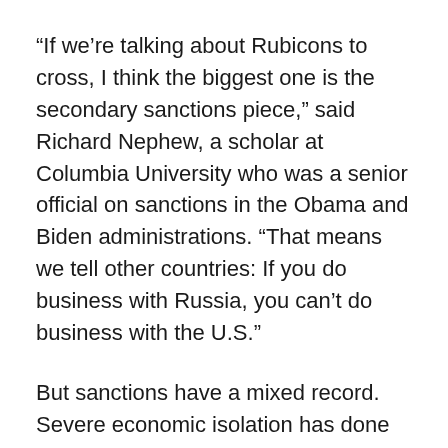“If we’re talking about Rubicons to cross, I think the biggest one is the secondary sanctions piece,” said Richard Nephew, a scholar at Columbia University who was a senior official on sanctions in the Obama and Biden administrations. “That means we tell other countries: If you do business with Russia, you can’t do business with the U.S.”
But sanctions have a mixed record. Severe economic isolation has done little to change the behavior of governments from Iran to North Korea to Cuba and Venezuela.